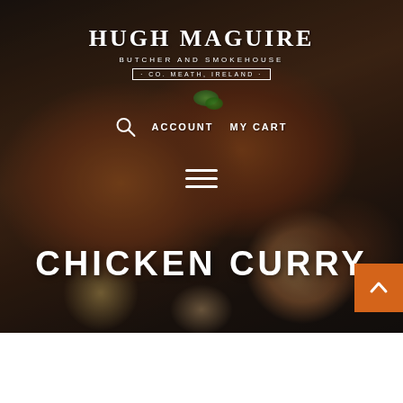[Figure (photo): Hero background photo of grilled chicken on a dark grill pan with herbs, dark moody lighting]
HUGH MAGUIRE
BUTCHER AND SMOKEHOUSE
· CO. MEATH, IRELAND ·
🔍  ACCOUNT  MY CART
[Figure (other): Hamburger/navigation menu icon with three horizontal lines]
CHICKEN CURRY